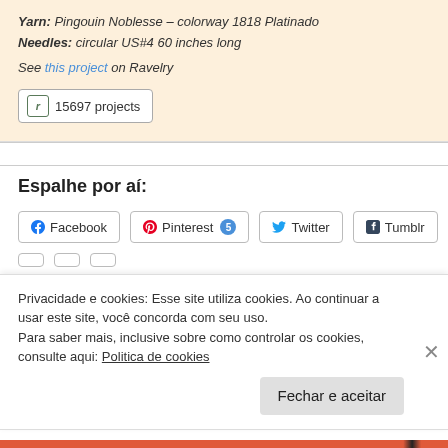Yarn: Pingouin Noblesse – colorway 1818 Platinado
Needles: circular US#4 60 inches long
See this project on Ravelry
r 15697 projects
Espalhe por aí:
Facebook   Pinterest 5   Twitter   Tumblr
Privacidade e cookies: Esse site utiliza cookies. Ao continuar a usar este site, você concorda com seu uso.
Para saber mais, inclusive sobre como controlar os cookies, consulte aqui: Politica de cookies
Fechar e aceitar